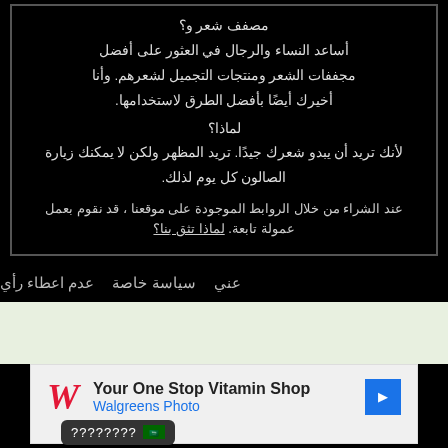مصفف شعر و؟ أساعد النساء والرجال في العثور على أفضل مجففات الشعر ومنتجات التجميل لشعرهم. وأنا أخيرك أيضًا بأفضل الطرق لاستخدامها. لماذا؟ لأنك تريد أن يبدو شعرك جيدًا. تريد المظهر ولكن لا يمكنك زيارة الصالون كل يوم لذلك. عند الشراء من خلال الروابط الموجودة على موقعنا ، قد نقوم بعمل عمولة تابعة. لماذا تثق بنا؟
عدم اعطاء رأي   سياسة خاصة   عني
[Figure (screenshot): Advertisement for Walgreens showing 'Your One Stop Vitamin Shop' with Walgreens Photo text and navigation arrow, plus a tooltip with question marks and Saudi Arabia flag]